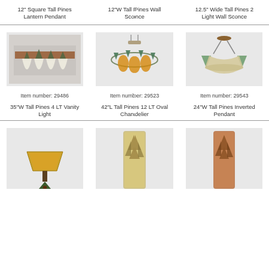12" Square Tall Pines Lantern Pendant
12"W Tall Pines Wall Sconce
12.5" Wide Tall Pines 2 Light Wall Sconce
[Figure (photo): 35"W Tall Pines 4 LT Vanity Light fixture with pine tree motif and glass shades]
Item number: 29486
35"W Tall Pines 4 LT Vanity Light
[Figure (photo): 42"L Tall Pines 12 LT Oval Chandelier with pine trees and amber glass]
Item number: 29523
42"L Tall Pines 12 LT Oval Chandelier
[Figure (photo): 24"W Tall Pines Inverted Pendant with pine tree silhouettes]
Item number: 29543
24"W Tall Pines Inverted Pendant
[Figure (photo): Table lamp with amber shade and pine tree base]
[Figure (photo): Tall cylindrical wall sconce with pine tree cutout design]
[Figure (photo): Copper cylindrical pendant with pine tree cutout design]